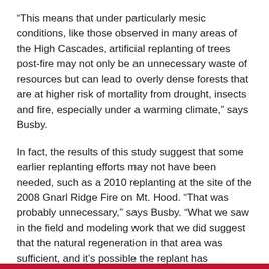“This means that under particularly mesic conditions, like those observed in many areas of the High Cascades, artificial replanting of trees post-fire may not only be an unnecessary waste of resources but can lead to overly dense forests that are at higher risk of mortality from drought, insects and fire, especially under a warming climate,” says Busby.
In fact, the results of this study suggest that some earlier replanting efforts may not have been needed, such as a 2010 replanting at the site of the 2008 Gnarl Ridge Fire on Mt. Hood. “That was probably unnecessary,” says Busby. “What we saw in the field and modeling work that we did suggest that the natural regeneration in that area was sufficient, and it’s possible the replant has compounded tree density in a negative manner for forest resistance to fire, drought, insects and pathogens.”